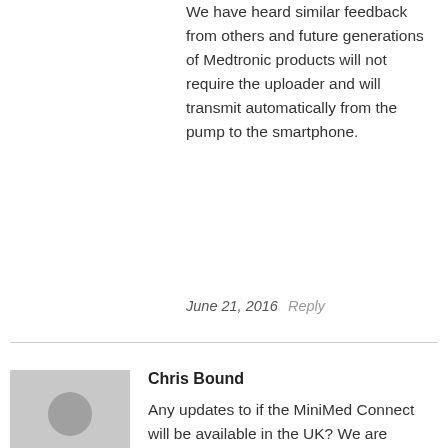We have heard similar feedback from others and future generations of Medtronic products will not require the uploader and will transmit automatically from the pump to the smartphone.
June 21, 2016  Reply
Chris Bound
Any updates to if the MiniMed Connect will be available in the UK? We are desperately waiting!!! Happy to volunteer if you require people to test!
September 26, 2016  Reply
Naomi Ruperto
Thanks for your patience, Chris. I'm sorry but we don't have an update to share at this time.